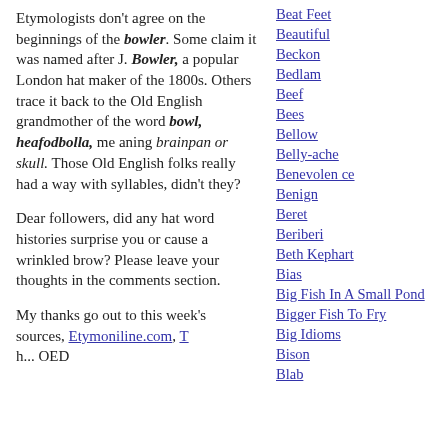Etymologists don't agree on the beginnings of the bowler. Some claim it was named after J. Bowler, a popular London hat maker of the 1800s. Others trace it back to the Old English grandmother of the word bowl, heafodbolla, meaning brainpan or skull. Those Old English folks really had a way with syllables, didn't they?
Dear followers, did any hat word histories surprise you or cause a wrinkled brow? Please leave your thoughts in the comments section.
My thanks go out to this week's sources, Etymoniline.com, T h... OED...
Beat Feet
Beautiful
Beckon
Bedlam
Beef
Bees
Bellow
Belly-ache
Benevolence
Benign
Beret
Beriberi
Beth Kephart
Bias
Big Fish In A Small Pond
Bigger Fish To Fry
Big Idioms
Bison
Blab